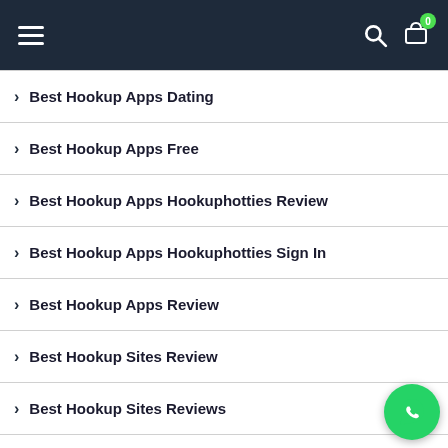Navigation header with hamburger menu, search icon, and cart icon with badge 0
Best Hookup Apps Dating
Best Hookup Apps Free
Best Hookup Apps Hookuphotties Review
Best Hookup Apps Hookuphotties Sign In
Best Hookup Apps Review
Best Hookup Sites Review
Best Hookup Sites Reviews
Best Hookup Sites Service
[Figure (illustration): WhatsApp floating action button (green circle with phone icon) in bottom-right corner]